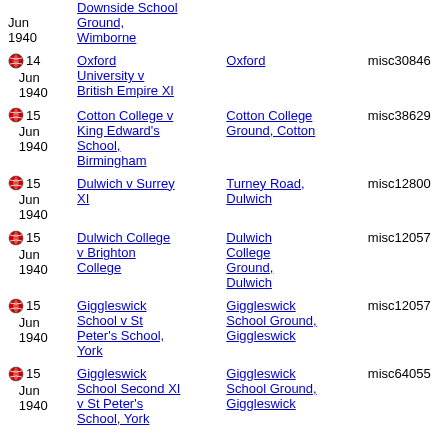| Date | Match | Ground | Misc |
| --- | --- | --- | --- |
| Jun 1940 | Downside School Ground, Wimborne |  |  |
| 14 Jun 1940 | Oxford University v British Empire XI | Oxford | misc30846 |
| 15 Jun 1940 | Cotton College v King Edward's School, Birmingham | Cotton College Ground, Cotton | misc38629 |
| 15 Jun 1940 | Dulwich v Surrey XI | Turney Road, Dulwich | misc12800 |
| 15 Jun 1940 | Dulwich College v Brighton College | Dulwich College Ground, Dulwich | misc12057 |
| 15 Jun 1940 | Giggleswick School v St Peter's School, York | Giggleswick School Ground, Giggleswick | misc12057 |
| 15 Jun 1940 | Giggleswick School Second XI v St Peter's School, York | Giggleswick School Ground, Giggleswick | misc64055 |